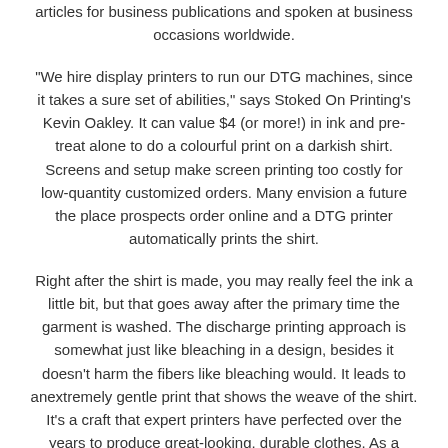articles for business publications and spoken at business occasions worldwide.
“We hire display printers to run our DTG machines, since it takes a sure set of abilities,” says Stoked On Printing’s Kevin Oakley. It can value $4 (or more!) in ink and pre-treat alone to do a colourful print on a darkish shirt. Screens and setup make screen printing too costly for low-quantity customized orders. Many envision a future the place prospects order online and a DTG printer automatically prints the shirt.
Right after the shirt is made, you may really feel the ink a little bit, but that goes away after the primary time the garment is washed. The discharge printing approach is somewhat just like bleaching in a design, besides it doesn’t harm the fibers like bleaching would. It leads to anextremely gentle print that shows the weave of the shirt. It’s a craft that expert printers have perfected over the years to produce great-looking, durable clothes. As a more labor-intensive course of, display screen printing produces lovely, saturated colours and a distinctive, authentic appearance. Many consumers in all probability would be surprised to know how many DTG-printed merchandise they personal that they assume have been screen-printed instead.